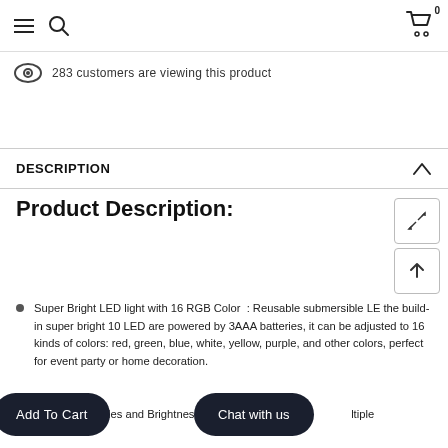Navigation bar with hamburger menu, search icon, and cart icon (0 items)
283 customers are viewing this product
DESCRIPTION
Product Description:
Super Bright LED light with 16 RGB Color : Reusable submersible LE the build-in super bright 10 LED are powered by 3AAA batteries, it can be adjusted to 16 kinds of colors: red, green, blue, white, yellow, purple, and other colors, perfect for event party or home decoration.
4 Flashing Modes and Brightness Adjustable  ...ltiple